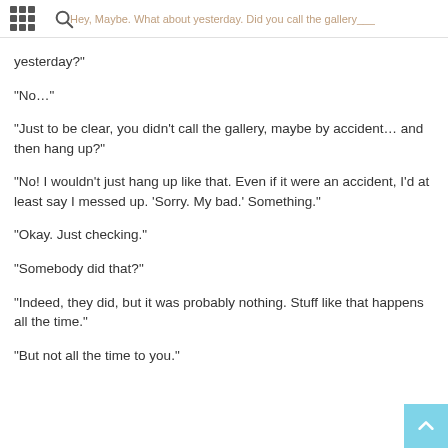Hey, Maybe. What about yesterday. Did you call the gallery yesterday?
“No…”
“Just to be clear, you didn’t call the gallery, maybe by accident… and then hang up?”
“No!  I wouldn’t just hang up like that.  Even if it were an accident, I’d at least say I messed up.  ‘Sorry. My bad.’  Something.”
“Okay.  Just checking.”
“Somebody did that?”
“Indeed, they did, but it was probably nothing.  Stuff like that happens all the time.”
“But not all the time to you.”